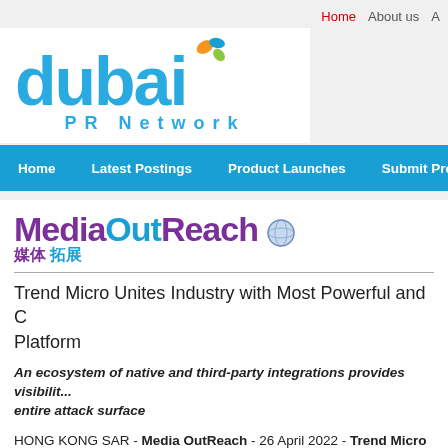Home  About us  A...
[Figure (logo): Dubai PR Network logo with blue 'dubai' text and PR Network subtitle, with colorful leaf/petal icon]
Home   Latest Postings   Product Launches   Submit Press Release
[Figure (logo): MediaOutReach logo with globe icon and Chinese text '媒体拓展']
Trend Micro Unites Industry with Most Powerful and C... Platform
An ecosystem of native and third-party integrations provides visibility... entire attack surface
HONG KONG SAR - Media OutReach - 26 April 2022 - Trend Micro Incorp... 4704), a global cybersecurity leader, announced the launch of Trend Micro... cybersecurity platform with a growing list of ecosystem technology partners... to better understand, communicate, and lower their cyber risk.